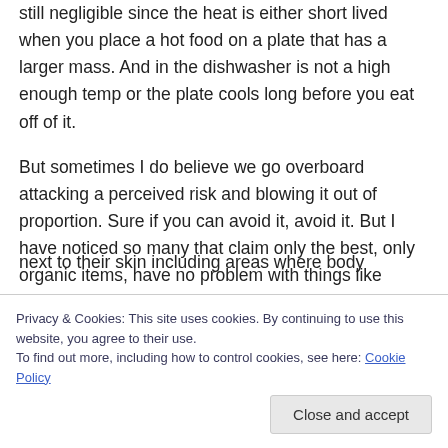still negligible since the heat is either short lived when you place a hot food on a plate that has a larger mass. And in the dishwasher is not a high enough temp or the plate cools long before you eat off of it.
But sometimes I do believe we go overboard attacking a perceived risk and blowing it out of proportion. Sure if you can avoid it, avoid it. But I have noticed so many that claim only the best, only organic items, have no problem with things like putting a cell phone up to their heads or next to their skin including areas where body
Privacy & Cookies: This site uses cookies. By continuing to use this website, you agree to their use.
To find out more, including how to control cookies, see here: Cookie Policy